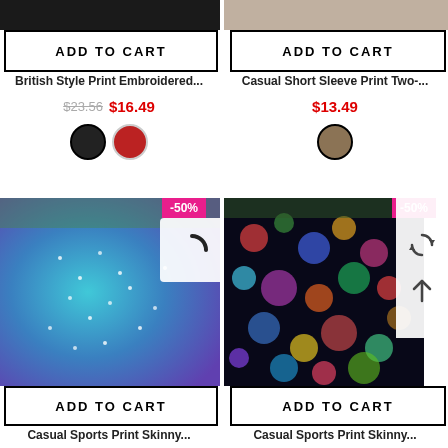[Figure (photo): Top-left product photo: dark clothing item]
[Figure (photo): Top-right product photo: person wearing print clothing]
ADD TO CART
ADD TO CART
British Style Print Embroidered...
Casual Short Sleeve Print Two-...
$23.56  $16.49
$13.49
[Figure (photo): Color swatch: black]
[Figure (photo): Color swatch: red]
[Figure (photo): Color swatch: khaki/brown]
-50%
[Figure (photo): Bottom-left product: colorful rhinestone print skinny shorts, teal/purple]
-50%
[Figure (photo): Bottom-right product: colorful bokeh/polka dot print skinny shorts]
ADD TO CART
ADD TO CART
Casual Sports Print Skinny...
Casual Sports Print Skinny...